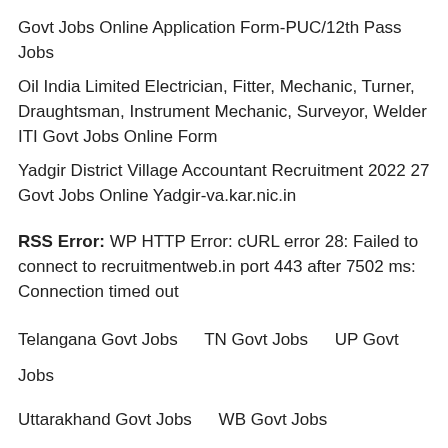Govt Jobs Online Application Form-PUC/12th Pass Jobs
Oil India Limited Electrician, Fitter, Mechanic, Turner, Draughtsman, Instrument Mechanic, Surveyor, Welder ITI Govt Jobs Online Form
Yadgir District Village Accountant Recruitment 2022 27 Govt Jobs Online Yadgir-va.kar.nic.in
RSS Error: WP HTTP Error: cURL error 28: Failed to connect to recruitmentweb.in port 443 after 7502 ms: Connection timed out
Telangana Govt Jobs    TN Govt Jobs    UP Govt Jobs
Uttarakhand Govt Jobs    WB Govt Jobs
Karnataka Govt Jobs    Kerala Govt Jobs